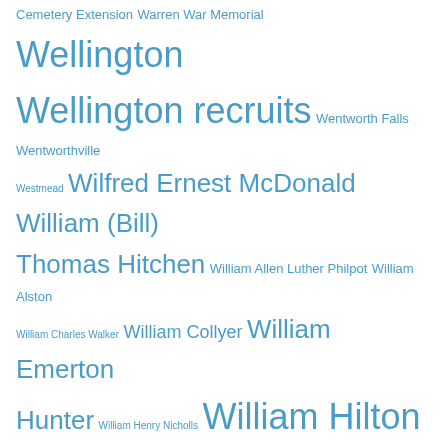Cemetery Extension Warren War Memorial Wellington Wellington recruits Wentworth Falls Wentworthville Westmead Wilfred Ernest McDonald William (Bill) Thomas Hitchen William Allen Luther Philpot William Alston William Charles Walker William Collyer William Emerton Hunter William Henry Nicholls William Hilton Saunders William John Luther Howard William L. Hunt William Smith William Stirling Mason William Webber Wongarbon Wongarbon recruits Wongarbon Soldiers Memorial Woodford Yetholme Yetholme recruits
Recent Comments
Helen Thompson on Ronald Hector PERKINS